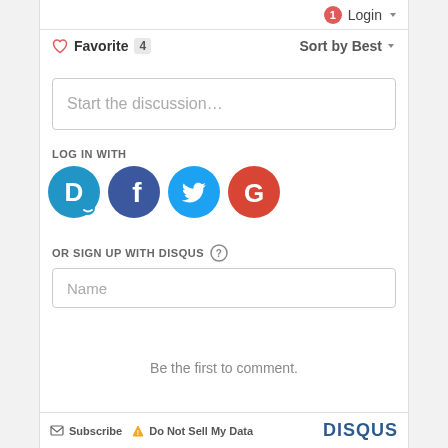[Figure (screenshot): Disqus comment widget showing Login button with badge, Favorite count 4, Sort by Best dropdown, Start the discussion text input, LOG IN WITH section with social icons (Disqus, Facebook, Twitter, Google), OR SIGN UP WITH DISQUS section with Name input field, Be the first to comment message, and footer with Subscribe, Do Not Sell My Data, and DISQUS logo.]